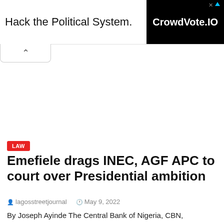[Figure (other): Advertisement banner: 'Hack the Political System.' with CrowdVote.IO logo on black background]
LAW
Emefiele drags INEC, AGF APC to court over Presidential ambition
lagosstreetjournal   May 9, 2022
By Joseph Ayinde The Central Bank of Nigeria, CBN, Governor Mr Godwin Emefiele has finally